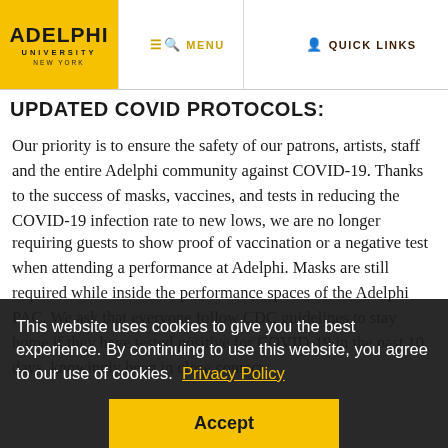ADELPHI UNIVERSITY NEW YORK | MENU | QUICK LINKS
UPDATED COVID PROTOCOLS:
Our priority is to ensure the safety of our patrons, artists, staff and the entire Adelphi community against COVID-19. Thanks to the success of masks, vaccines, and tests in reducing the COVID-19 infection rate to new lows, we are no longer requiring guests to show proof of vaccination or a negative test when attending a performance at Adelphi. Masks are still required while inside the performance spaces of the Adelphi PAC. We ask that everyone follow CDC guidelines to stay home if they have tested positive for COVID-19 in the past 10 days, knowingly been in close contact
This website uses cookies to give you the best experience. By continuing to use this website, you agree to our use of cookies. Privacy Policy
Accept